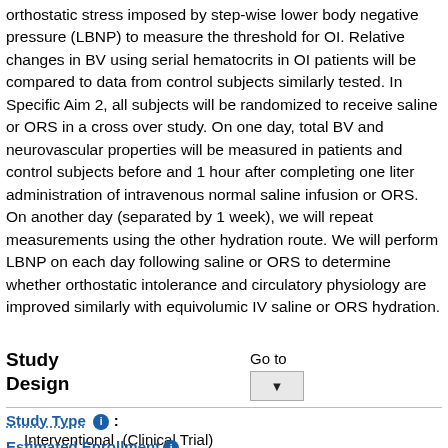orthostatic stress imposed by step-wise lower body negative pressure (LBNP) to measure the threshold for OI. Relative changes in BV using serial hematocrits in OI patients will be compared to data from control subjects similarly tested. In Specific Aim 2, all subjects will be randomized to receive saline or ORS in a cross over study. On one day, total BV and neurovascular properties will be measured in patients and control subjects before and 1 hour after completing one liter administration of intravenous normal saline infusion or ORS. On another day (separated by 1 week), we will repeat measurements using the other hydration route. We will perform LBNP on each day following saline or ORS to determine whether orthostatic intolerance and circulatory physiology are improved similarly with equivolumic IV saline or ORS hydration.
Study Design
Go to
Study Type :
Interventional  (Clinical Trial)
Estimated Enrollment :